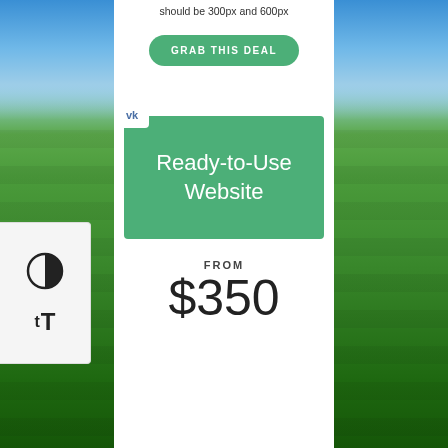should be 300px and 600px
GRAB THIS DEAL
[Figure (illustration): Green box with white text reading 'Ready-to-Use Website']
FROM
$350